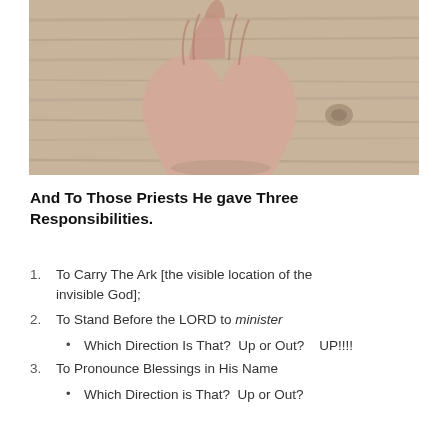[Figure (photo): Clasped praying hands resting on a wooden surface, viewed from above]
And To Those Priests He gave Three Responsibilities.
To Carry The Ark [the visible location of the invisible God];
To Stand Before the LORD to minister
Which Direction Is That?  Up or Out?    UP!!!!
To Pronounce Blessings in His Name
Which Direction is That?  Up or Out?